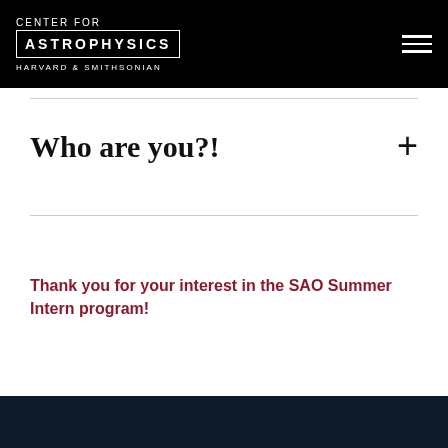CENTER FOR ASTROPHYSICS HARVARD & SMITHSONIAN
Who are you?!
Thank you for your interest in the SAO Summer Intern program!